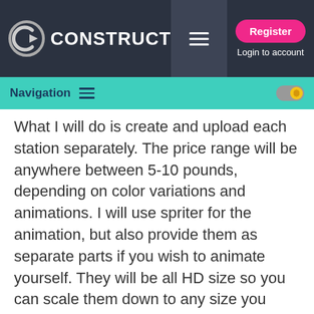CONSTRUCT — Register | Login to account
Navigation
What I will do is create and upload each station separately. The price range will be anywhere between 5-10 pounds, depending on color variations and animations. I will use spriter for the animation, but also provide them as separate parts if you wish to animate yourself. They will be all HD size so you can scale them down to any size you require.
You can see the progress on my behance portfolio, will upload there soon as I complete coloring.
https://www.behance.net/Famekrafts
You can contact me from behance as well, and